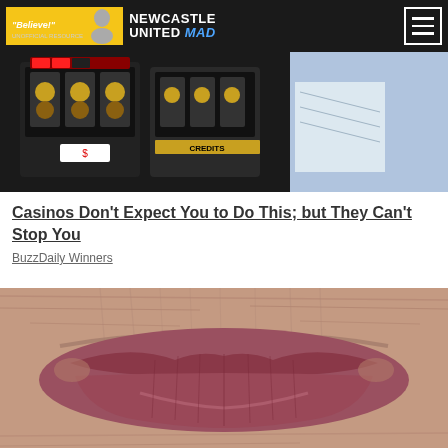Newcastle United Mad – Believe! Unofficial resource
[Figure (photo): Casino slot machines with a person standing nearby]
Casinos Don't Expect You to Do This; but They Can't Stop You
BuzzDaily Winners
[Figure (photo): Extreme close-up of elderly person's lips and surrounding wrinkled skin]